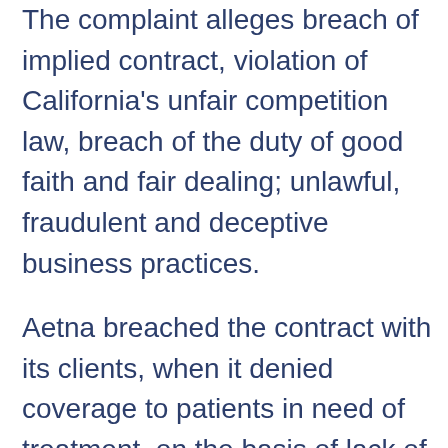The complaint alleges breach of implied contract, violation of California's unfair competition law, breach of the duty of good faith and fair dealing; unlawful, fraudulent and deceptive business practices.
Aetna breached the contract with its clients, when it denied coverage to patients in need of treatment, on the basis of lack of medical necessity, without a proper assessment by a physician. The company had a duty to provide coverage for treatments related to the terms of the health plan agreement. Instead, Aetna denied claims, contradicting health records and company policies.